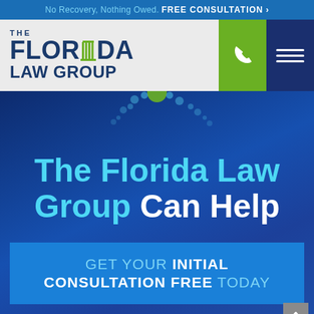No Recovery, Nothing Owed. FREE CONSULTATION >
[Figure (logo): The Florida Law Group logo with columns icon in the letter I]
The Florida Law Group Can Help
GET YOUR INITIAL CONSULTATION FREE TODAY